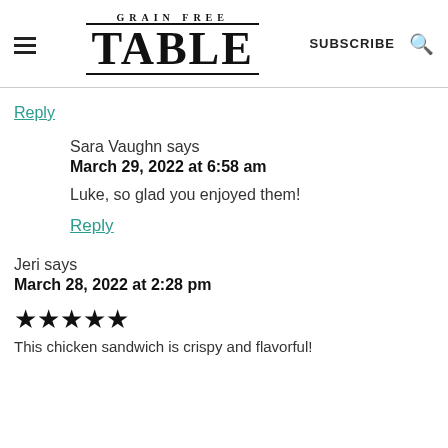GRAIN FREE TABLE | SUBSCRIBE
Reply
Sara Vaughn says
March 29, 2022 at 6:58 am
Luke, so glad you enjoyed them!
Reply
Jeri says
March 28, 2022 at 2:28 pm
[Figure (other): Five filled stars rating]
This chicken sandwich is crispy and flavorful!